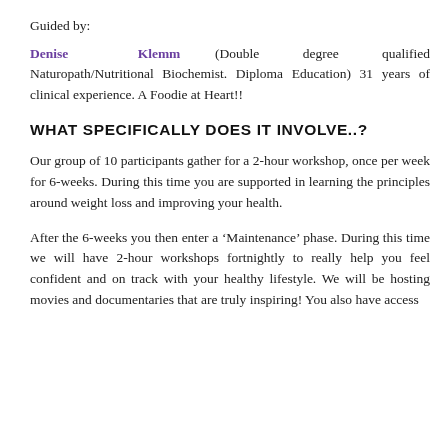Guided by:
Denise Klemm (Double degree qualified Naturopath/Nutritional Biochemist. Diploma Education) 31 years of clinical experience. A Foodie at Heart!!
WHAT SPECIFICALLY DOES IT INVOLVE..?
Our group of 10 participants gather for a 2-hour workshop, once per week for 6-weeks. During this time you are supported in learning the principles around weight loss and improving your health.
After the 6-weeks you then enter a ‘Maintenance’ phase. During this time we will have 2-hour workshops fortnightly to really help you feel confident and on track with your healthy lifestyle. We will be hosting movies and documentaries that are truly inspiring! You also have access